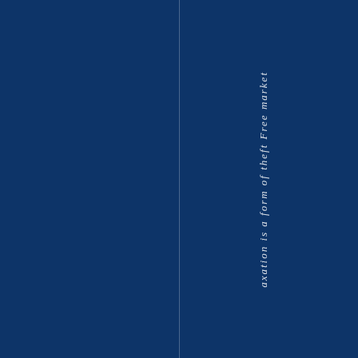[Figure (other): Dark navy blue cover page with a vertical white line dividing the page roughly in the center-right area, and vertical italic text reading 'axation is a form of theft Free market' running top to bottom along the right portion of the page.]